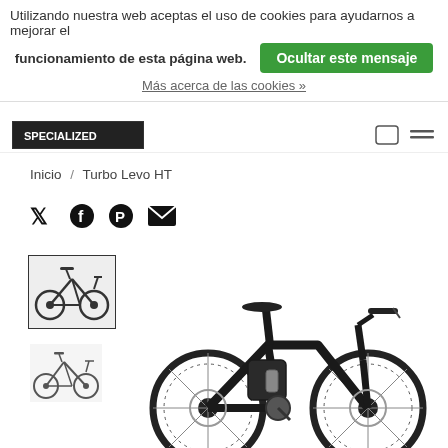Utilizando nuestra web aceptas el uso de cookies para ayudarnos a mejorar el funcionamiento de esta página web.
Ocultar este mensaje
Más acerca de las cookies »
[Figure (logo): Specialized brand logo in dark background]
Inicio / Turbo Levo HT
[Figure (infographic): Social media share icons: Twitter, Facebook, Pinterest, Email]
[Figure (photo): Thumbnail of Turbo Levo HT electric mountain bike, selected state with border]
[Figure (photo): Smaller thumbnail of Turbo Levo HT electric mountain bike, alternate view]
[Figure (photo): Main product image of Turbo Levo HT electric mountain bike, dark grey/black colorway, hardtail e-MTB with large knobby tires]